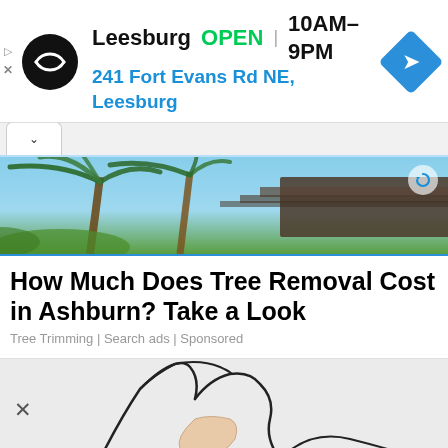[Figure (screenshot): Top advertisement banner: circular black logo with double arrow symbol, text 'Leesburg OPEN 10AM–9PM / 241 Fort Evans Rd NE, Leesburg', blue navigation diamond icon on the right]
[Figure (photo): Photo strip showing palm trees and a thatched roof structure against a blue sky, with a refresh/reload icon in the top right corner]
How Much Does Tree Removal Cost in Ashburn? Take a Look
Tree Trimming | Search ads | Sponsored
[Figure (illustration): Partial sketch/line drawing of a figure, shown cropped at top, with an X close button on the left side]
[Figure (screenshot): Bottom advertisement banner: title 'Invest In Real Estate Online', description 'Real Estate Investing for experienced lenders. Earn passive income online.', source 'Fund That Flip', blue Open button]